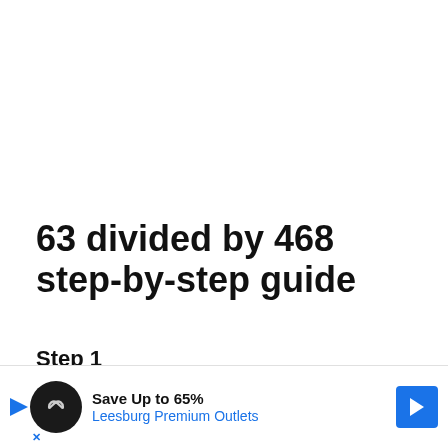63 divided by 468 step-by-step guide
Step 1
The first step is to set up our division prob[lem with the divisor on the left side
and [... truncated by ad overlay ...]e